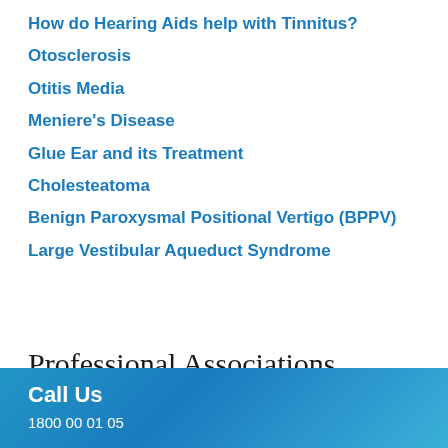How do Hearing Aids help with Tinnitus?
Otosclerosis
Otitis Media
Meniere's Disease
Glue Ear and its Treatment
Cholesteatoma
Benign Paroxysmal Positional Vertigo (BPPV)
Large Vestibular Aqueduct Syndrome
Professional Associations
Call Us
1800 00 01 05